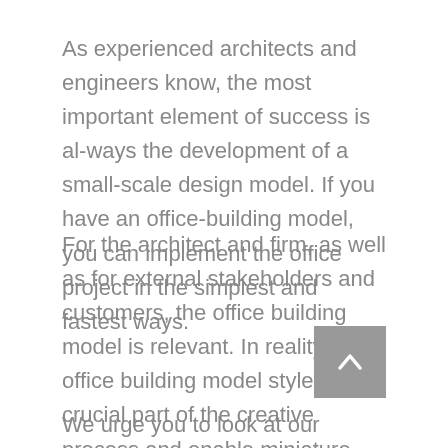As experienced architects and engineers know, the most important element of success is al-ways the development of a small-scale design model. If you have an office-building model, you can implement the office project in the simplest and fastest ways.
For the architect and firm, as well as for external stakeholders and customers, the office building model is relevant. In reality, office building model styles are a crucial part of the creative process and enable miniature plans to appear. If you want to have an idea to can enhance that project in real-time, the model also offers insight to you.
We urge you to look at our project Office Building